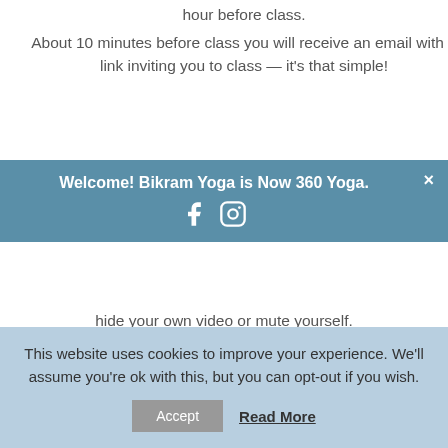hour before class. About 10 minutes before class you will receive an email with a link inviting you to class — it's that simple!
Welcome! Bikram Yoga is Now 360 Yoga.
hide your own video or mute yourself.
Tips for a Great Class
If you are signed up for class, within 30 min of class time you will receive an email from 360yogaathome@gmail.com. Click on the link to join the class.
Bikram and Flow: Get warmed up before class starts with a 10 min power walk or other
This website uses cookies to improve your experience. We'll assume you're ok with this, but you can opt-out if you wish.